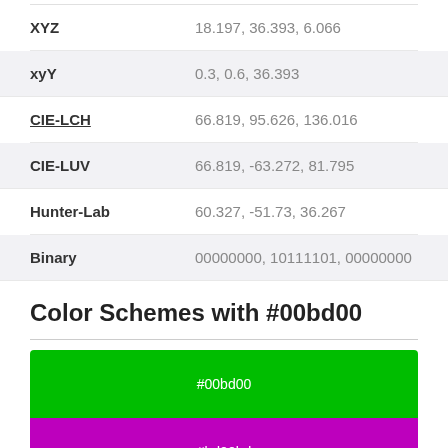| Property | Value |
| --- | --- |
| XYZ | 18.197, 36.393, 6.066 |
| xyY | 0.3, 0.6, 36.393 |
| CIE-LCH | 66.819, 95.626, 136.016 |
| CIE-LUV | 66.819, -63.272, 81.795 |
| Hunter-Lab | 60.327, -51.73, 36.267 |
| Binary | 00000000, 10111101, 00000000 |
Color Schemes with #00bd00
[Figure (infographic): Two color swatches: top swatch is green (#00bd00), bottom swatch is purple (#bd00bd)]